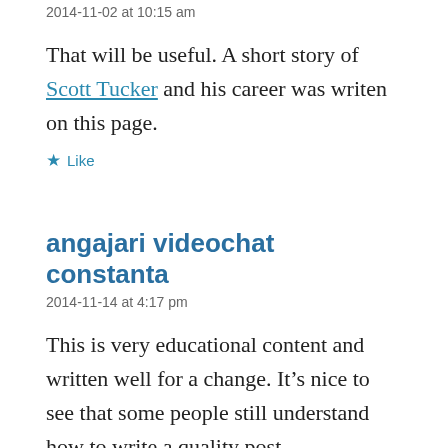2014-11-02 at 10:15 am
That will be useful. A short story of Scott Tucker and his career was writen on this page.
★ Like
angajari videochat constanta
2014-11-14 at 4:17 pm
This is very educational content and written well for a change. It's nice to see that some people still understand how to write a quality post.
★ Like